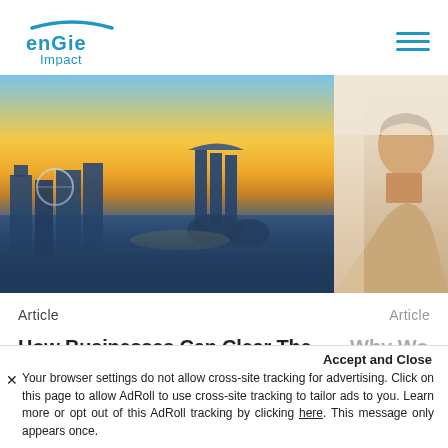ENGIE Impact
[Figure (photo): Aerial view of Singapore skyline at sunset, showing Marina Bay Sands, Singapore Flyer, and waterfront buildings with golden sky]
[Figure (photo): Partial view of a woman in a beige turtleneck looking upward, against a light background]
Article
Article
How Businesses Can Clear The Hurdles To Decarbonization In APAC
Why Wo Climate
Accept and Close
Your browser settings do not allow cross-site tracking for advertising. Click on this page to allow AdRoll to use cross-site tracking to tailor ads to you. Learn more or opt out of this AdRoll tracking by clicking here. This message only appears once.